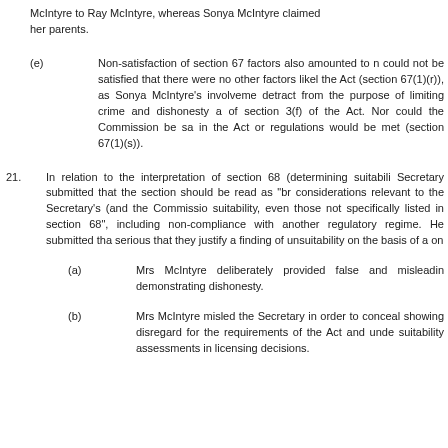McIntyre to Ray McIntyre, whereas Sonya McIntyre claimed her parents.
(e) Non-satisfaction of section 67 factors also amounted to n could not be satisfied that there were no other factors likely the Act (section 67(1)(r)), as Sonya McIntyre's involvement detract from the purpose of limiting crime and dishonesty a of section 3(f) of the Act. Nor could the Commission be sa in the Act or regulations would be met (section 67(1)(s)).
21. In relation to the interpretation of section 68 (determining suitabili Secretary submitted that the section should be read as "br considerations relevant to the Secretary's (and the Commissio suitability, even those not specifically listed in section 68", including non-compliance with another regulatory regime. He submitted tha serious that they justify a finding of unsuitability on the basis of a on
(a) Mrs McIntyre deliberately provided false and misleadin demonstrating dishonesty.
(b) Mrs McIntyre misled the Secretary in order to conceal showing disregard for the requirements of the Act and und suitability assessments in licensing decisions.